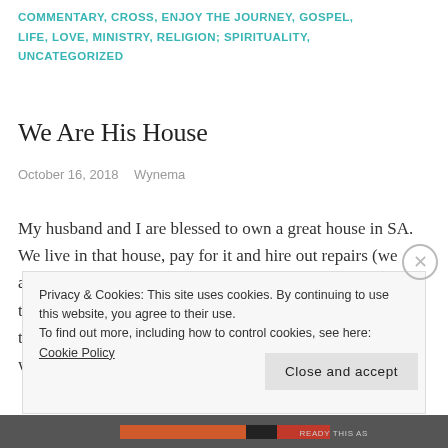COMMENTARY, CROSS, ENJOY THE JOURNEY, GOSPEL, LIFE, LOVE, MINISTRY, RELIGION; SPIRITUALITY, UNCATEGORIZED
We Are His House
October 16, 2018   Wynema
My husband and I are blessed to own a great house in SA. We live in that house, pay for it and hire out repairs (we aren't real good at that stuff) and care for the upkeep of it. If there is painting that needs to be done or a lawn that needs to be mowed Jeremy and I don't blame the house, how silly would that be, we simply take care of it. We may rearrange
Privacy & Cookies: This site uses cookies. By continuing to use this website, you agree to their use.
To find out more, including how to control cookies, see here: Cookie Policy
Close and accept